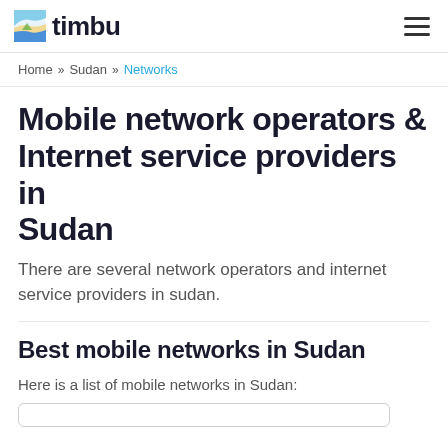timbu
Home » Sudan » Networks
Mobile network operators & Internet service providers in Sudan
There are several network operators and internet service providers in sudan.
Best mobile networks in Sudan
Here is a list of mobile networks in Sudan: